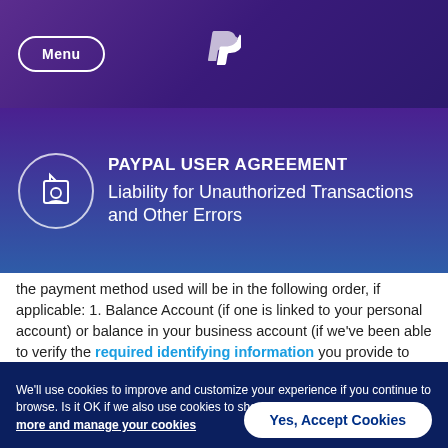Menu | PayPal
PAYPAL USER AGREEMENT
Liability for Unauthorized Transactions and Other Errors
the payment method used will be in the following order, if applicable: 1. Balance Account (if one is linked to your personal account) or balance in your business account (if we've been able to verify the required identifying information you provide to us); 2. Bank account; 3. PayPal
We'll use cookies to improve and customize your experience if you continue to browse. Is it OK if we also use cookies to show you personalized ads? Learn more and manage your cookies
Yes, Accept Cookies